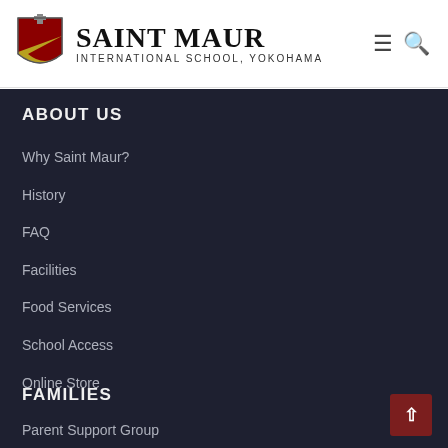SAINT MAUR INTERNATIONAL SCHOOL, YOKOHAMA
ABOUT US
Why Saint Maur?
History
FAQ
Facilities
Food Services
School Access
Online Store
FAMILIES
Parent Support Group